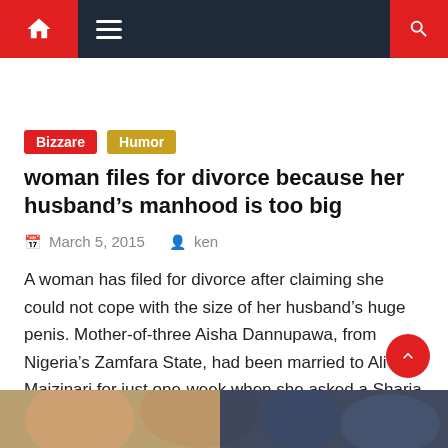Navigation bar with home icon, hamburger menu, and search icon
Bizzare
Humor
woman files for divorce because her husband’s manhood is too big
March 5, 2015   ken
A woman has filed for divorce after claiming she could not cope with the size of her husband’s huge penis. Mother-of-three Aisha Dannupawa, from Nigeria’s Zamfara State, had been married to Ali Maizinari for just one-week when she asked a Sharia court for an annulment. And she cited his massive member as the sole reason. [...]
[Figure (photo): Bottom thumbnail image showing faces/people, partially visible]